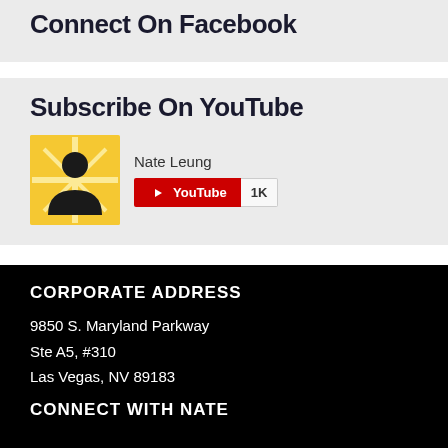Connect On Facebook
Subscribe On YouTube
[Figure (other): YouTube subscribe widget showing Nate Leung channel avatar, channel name 'Nate Leung', YouTube subscribe button in red, and 1K subscriber count badge]
CORPORATE ADDRESS
9850 S. Maryland Parkway
Ste A5, #310
Las Vegas, NV 89183
CONNECT WITH NATE